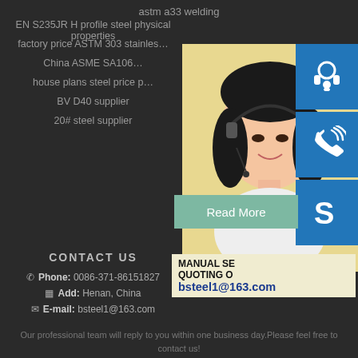astm a33 welding
EN S235JR H profile steel physical properties
factory price ASTM 303 stainles…
China ASME SA106…
house plans steel price p…
BV D40 supplier
20# steel supplier
[Figure (photo): Customer service representative (young woman wearing headset) with blue icon buttons for chat, phone, and Skype on the right side, and a promotional box showing MANUAL SE…, QUOTING O…, bsteel1@163.com]
Read More
CONTACT US
Phone: 0086-371-86151827
Add: Henan, China
E-mail: bsteel1@163.com
Our professional team will reply to you within one business day.Please feel free to contact us!